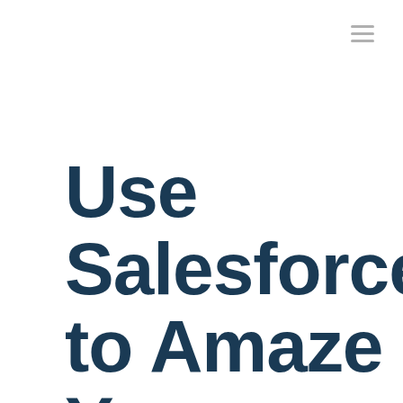[Figure (other): Hamburger menu icon with three horizontal gray lines in top-right corner]
Use Salesforce to Amaze Your